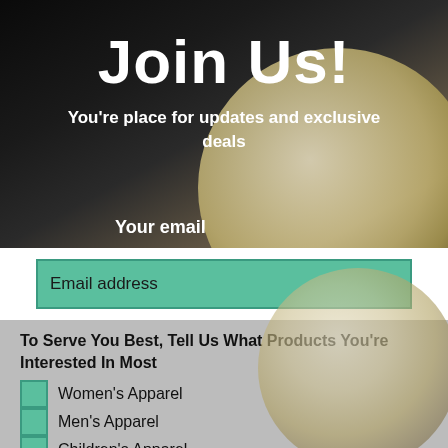Join Us!
You're place for updates and exclusive deals
Your email
Email address
To Serve You Best, Tell Us What Products You're Interested In Most
Women's Apparel
Men's Apparel
Children's Apparel
Accessories
Masks